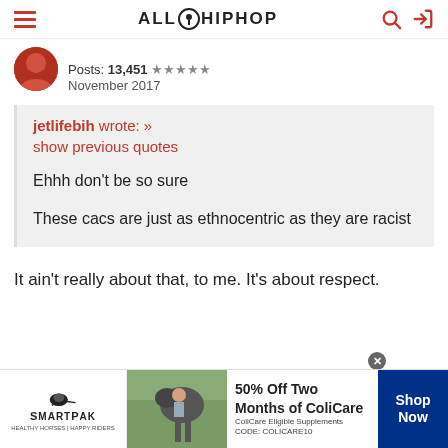ALL HIPHOP
Posts: 13,451 ★★★★★
November 2017
jetlifebih wrote: »
show previous quotes

Ehhh don't be so sure

These cacs are just as ethnocentric as they are racist
It ain't really about that, to me. It's about respect.
[Figure (other): SmartPak advertisement: 50% Off Two Months of ColiCare, ColiCare Eligible Supplements, CODE: COLICARE10, Shop Now button]